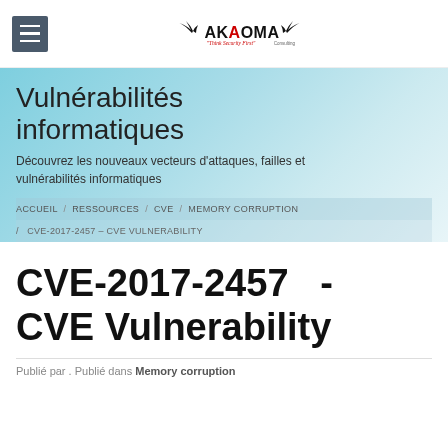[Figure (logo): Akaoma Consulting logo with bird silhouette and tagline 'Think Security First']
Vulnérabilités informatiques
Découvrez les nouveaux vecteurs d'attaques, failles et vulnérabilités informatiques
ACCUEIL / RESSOURCES / CVE / MEMORY CORRUPTION / CVE-2017-2457 – CVE VULNERABILITY
CVE-2017-2457 - CVE Vulnerability
Publié par . Publié dans Memory corruption